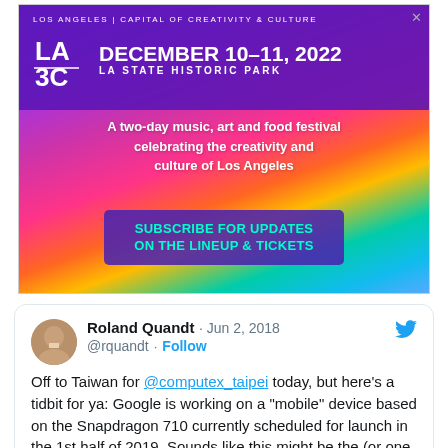[Figure (infographic): LA3C festival advertisement. Purple/multicolor gradient background. Shows LA3C logo, text: LOS ANGELES | CAPITAL OF CREATIVITY & CULTURE, DECEMBER 10-11, 2022, LA STATE HISTORIC PARK, A two-day music, art and food festival celebrating the creativity and culture of Los Angeles, SUBSCRIBE FOR UPDATES ON THE LINEUP & TICKETS]
Roland Quandt · Jun 2, 2018
@rquandt · Follow
Off to Taiwan for @computex_taipei today, but here's a tidbit for ya: Google is working on a "mobile" device based on the Snapdragon 710 currently scheduled for launch in the 1st half of 2019. Sounds like this might be the (or one of